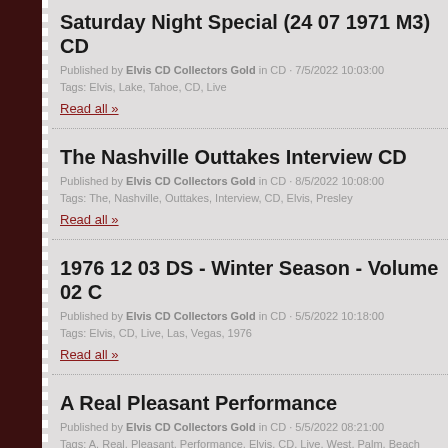Saturday Night Special (24 07 1971 M3) CD
Published by Elvis CD Collectors Gold in CD · 7/5/2022 10:03:00
Tags: Elvis, Lake, Tahoe, CD, Live
Read all »
The Nashville Outtakes Interview CD
Published by Elvis CD Collectors Gold in CD · 8/5/2022 10:08:00
Tags: The, Nashville, Outtakes, Interview, CD, Elvis, Presley
Read all »
1976 12 03 DS - Winter Season - Volume 02 C
Published by Elvis CD Collectors Gold in CD · 5/5/2022 10:18:00
Tags: Elvis, CD, Live, Las, Vegas, 1976
Read all »
A Real Pleasant Performance
Published by Elvis CD Collectors Gold in CD · 5/5/2022 08:21:00
Tags: A, Real, Pleasant, Performance, Elvis, CD, Live, West, Palm, Beach
Read all »
Surviving The Storm (2CD)
Published by Elvis CD Collectors Gold in CD · 4/5/2022 10:11:00
Tags: Elvis, CD